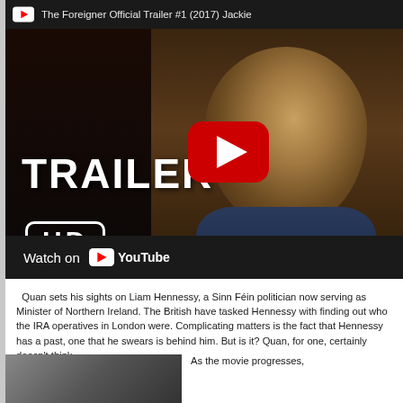[Figure (screenshot): YouTube video thumbnail for 'The Foreigner Official Trailer #1 (2017) Jackie Chan' showing a close-up of an Asian man's face with TRAILER HD text overlay, a red YouTube play button, and a 'Watch on YouTube' bar at the bottom]
Quan sets his sights on Liam Hennessy, a Sinn Féin politician now serving as Minister of Northern Ireland. The British have tasked Hennessy with finding out who the IRA operatives in London were. Complicating matters is the fact that Hennessy has a past, one that he swears is behind him. But is it? Quan, for one, certainly doesn't think so.
[Figure (screenshot): Small thumbnail image at bottom left, showing a dark scene from the movie]
As the movie progresses,